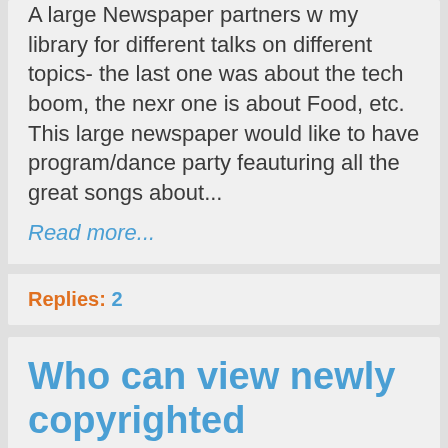A large Newspaper partners w my library for different talks on different topics- the last one was about the tech boom, the nexr one is about Food, etc. This large newspaper would like to have program/dance party feauturing all the great songs about...
Read more...
Replies: 2
Who can view newly copyrighted material?
Posted by: Aross
June 29, 2019 @ 6:19pm
(I don't see my original post.) - Who